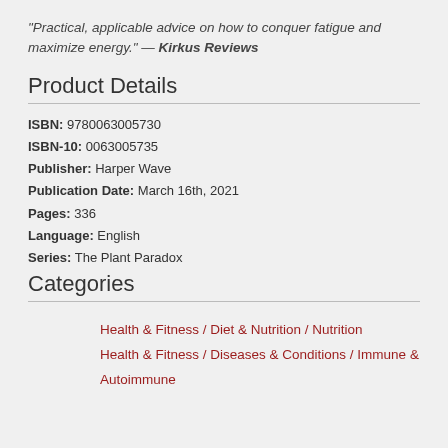"Practical, applicable advice on how to conquer fatigue and maximize energy." — Kirkus Reviews
Product Details
ISBN: 9780063005730
ISBN-10: 0063005735
Publisher: Harper Wave
Publication Date: March 16th, 2021
Pages: 336
Language: English
Series: The Plant Paradox
Categories
Health & Fitness / Diet & Nutrition / Nutrition
Health & Fitness / Diseases & Conditions / Immune & Autoimmune